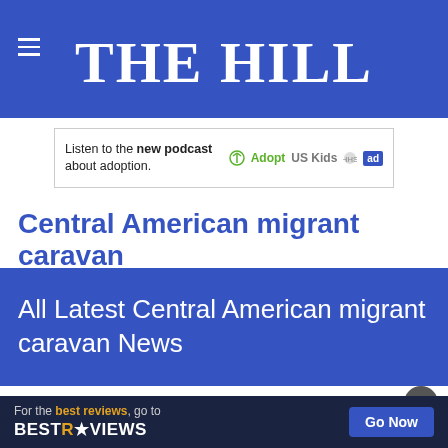THE HILL
[Figure (screenshot): Advertisement banner for AdoptUSKids podcast: 'Listen to the new podcast about adoption.']
Central American migrant caravan
All Latest Central American migrant caravan News
[Figure (photo): Thumbnail photo of migrants gathered under an overpass]
Several thousand migrants headed north through Mexico
NATIONAL SECURITY /
[Figure (screenshot): BestReviews advertisement: 'For the best reviews, go to BESTREVIEWS' with Go Now button]